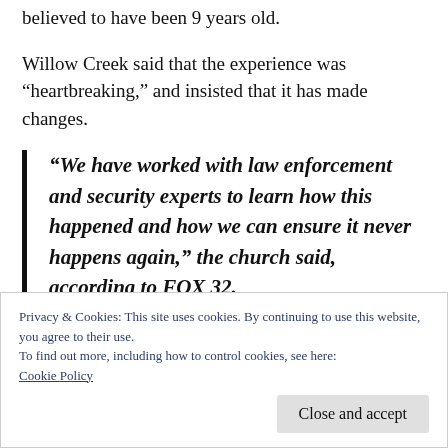believed to have been 9 years old.
Willow Creek said that the experience was “heartbreaking,” and insisted that it has made changes.
“We have worked with law enforcement and security experts to learn how this happened and how we can ensure it never happens again,” the church said, according to FOX 32.
Privacy & Cookies: This site uses cookies. By continuing to use this website, you agree to their use.
To find out more, including how to control cookies, see here:
Cookie Policy